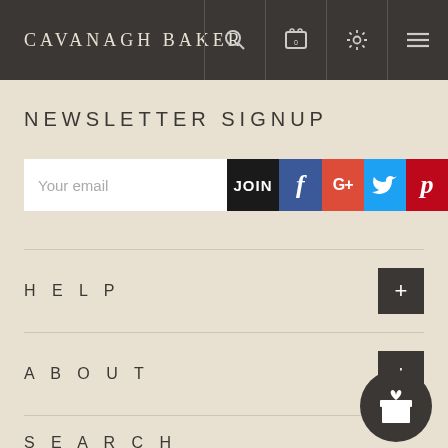CAVANAGH BAKER
NEWSLETTER SIGNUP
Your email | JOIN | f | G+ | Twitter | Pinterest
HELP
ABOUT
SEARCH